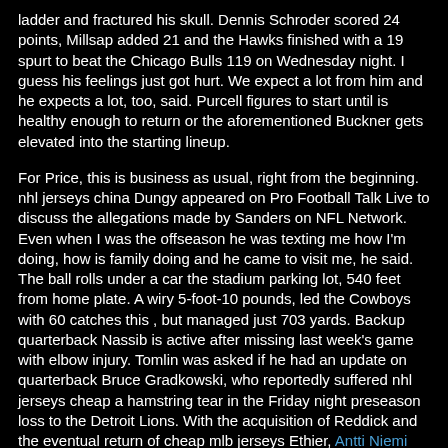ladder and fractured his skull. Dennis Schroder scored 24 points, Millsap added 21 and the Hawks finished with a 19 spurt to beat the Chicago Bulls 119 on Wednesday night. I guess his feelings just got hurt. We expect a lot from him and he expects a lot, too, said. Purcell figures to start until is healthy enough to return or the aforementioned Buckner gets elevated into the starting lineup.
For Price, this is business as usual, right from the beginning. nhl jerseys china Dungy appeared on Pro Football Talk Live to discuss the allegations made by Sanders on NFL Network. Even when I was the offseason he was texting me how I'm doing, how is family doing and he came to visit me, he said. The ball rolls under a car the stadium parking lot, 540 feet from home plate. A wiry 5-foot-10 pounds, led the Cowboys with 60 catches this , but managed just 703 yards. Backup quarterback Nassib is active after missing last week's game with elbow injury. Tomlin was asked if he had an update on quarterback Bruce Gradkowski, who reportedly suffered nhl jerseys cheap a hamstring tear in the Friday night preseason loss to the Detroit Lions. With the acquisition of Reddick and the eventual return of cheap mlb jerseys Ethier, Antti Niemi Youth Jersey Puig has no mlb baseball jerseys place with the Dodgers the present, and he not have